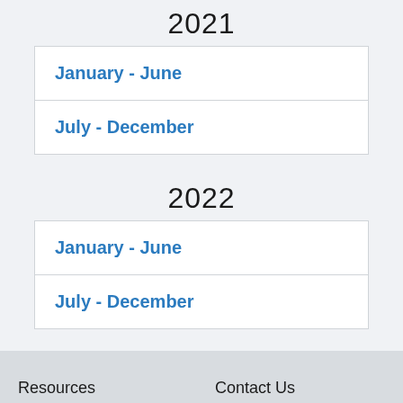2021
January - June
July - December
2022
January - June
July - December
Resources    Contact Us